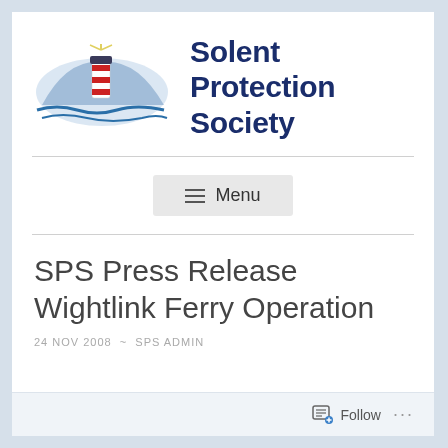[Figure (logo): Solent Protection Society logo — lighthouse with red and white stripes against blue wave and mountain silhouette]
Solent Protection Society
Menu
SPS Press Release Wightlink Ferry Operation
24 NOV 2008  ~  SPS ADMIN
Follow